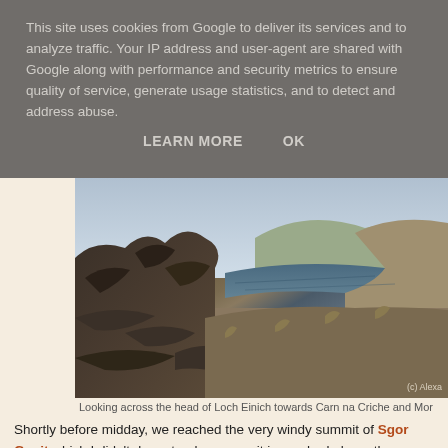This site uses cookies from Google to deliver its services and to analyze traffic. Your IP address and user-agent are shared with Google along with performance and security metrics to ensure quality of service, generate usage statistics, and to detect and address abuse.
LEARN MORE    OK
[Figure (photo): Mountain landscape showing rocky terrain with Loch Einich visible in the background, looking across towards Carn na Criche and Mor]
Looking across the head of Loch Einich towards Carn na Criche and Mor
Shortly before midday, we reached the very windy summit of Sgor Gaoit which I didn't dare stand up on as it is perched above the precipice of the was a pretty strong westerly wind today! Therefore I briefly sat on the su avoid being blown over, whilst admiring the truely fantastic views out ove Cairngorm hills to the east and over the Moine Mhor towards our next hil Monadh Mor and Beinn Bhrotain.
[Figure (photo): Sky with white clouds visible at bottom of page]